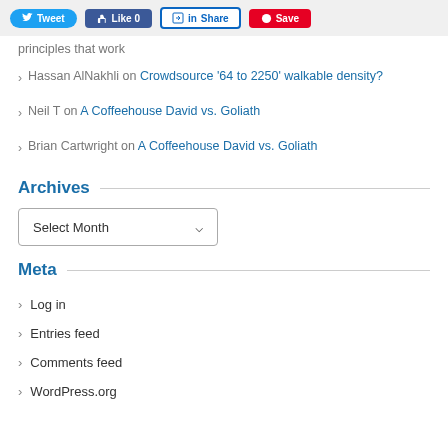[Figure (screenshot): Social sharing buttons: Tweet, Like 0, Share, Save]
Hassan AlNakhli on Crowdsource '64 to 2250' walkable density?
Neil T on A Coffeehouse David vs. Goliath
Brian Cartwright on A Coffeehouse David vs. Goliath
Archives
Select Month (dropdown)
Meta
Log in
Entries feed
Comments feed
WordPress.org